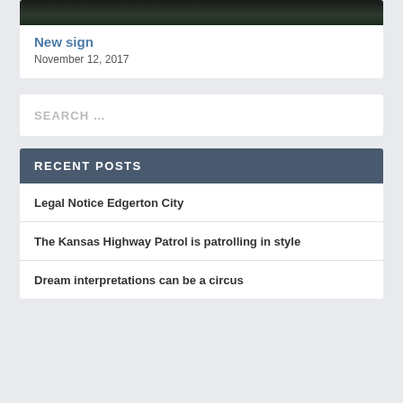[Figure (photo): Dark image at top of card]
New sign
November 12, 2017
SEARCH …
RECENT POSTS
Legal Notice Edgerton City
The Kansas Highway Patrol is patrolling in style
Dream interpretations can be a circus